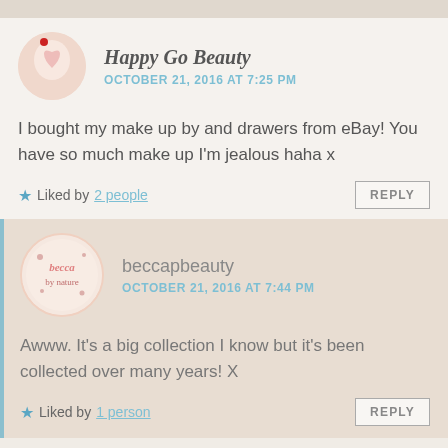Happy Go Beauty — OCTOBER 21, 2016 AT 7:25 PM
I bought my make up by and drawers from eBay! You have so much make up I'm jealous haha x
Liked by 2 people
beccapbeauty — OCTOBER 21, 2016 AT 7:44 PM
Awww. It's a big collection I know but it's been collected over many years! X
Liked by 1 person